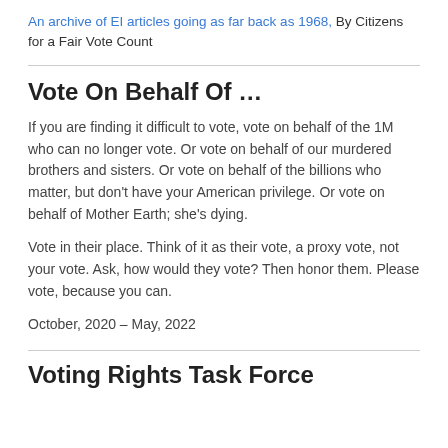An archive of EI articles going as far back as 1968, By Citizens for a Fair Vote Count
Vote On Behalf Of …
If you are finding it difficult to vote, vote on behalf of the 1M who can no longer vote. Or vote on behalf of our murdered brothers and sisters. Or vote on behalf of the billions who matter, but don't have your American privilege. Or vote on behalf of Mother Earth; she's dying.
Vote in their place. Think of it as their vote, a proxy vote, not your vote. Ask, how would they vote? Then honor them. Please vote, because you can.
October, 2020 – May, 2022
Voting Rights Task Force